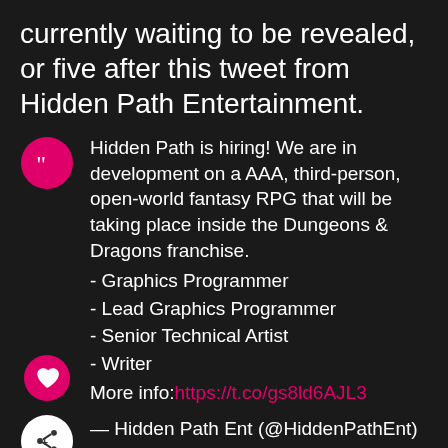currently waiting to be revealed, or five after this tweet from Hidden Path Entertainment.
[Figure (screenshot): Embedded tweet screenshot from Hidden Path Entertainment with quote icon circle (pink), heart icon circle (pink), and share icon circle (white)]
Hidden Path is hiring! We are in development on a AAA, third-person, open-world fantasy RPG that will be taking place inside the Dungeons & Dragons franchise.
- Graphics Programmer
- Lead Graphics Programmer
- Senior Technical Artist
- Writer
More info: https://t.co/gs8ld6AJL3
— Hidden Path Ent (@HiddenPathEnt) March 2, 2021